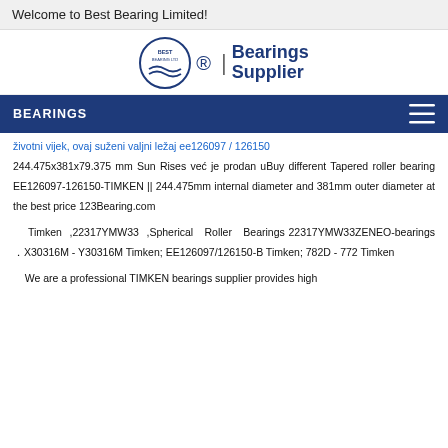Welcome to Best Bearing Limited!
[Figure (logo): Best Bearing Ltd logo: circular emblem with waves and text 'BEST BEARING LTD', a registered trademark symbol, a vertical divider, and bold text 'Bearings Supplier']
BEARINGS
životni vijek, ovaj suženi valjni ležaj ee126097 / 126150 244.475x381x79.375 mm Sun Rises već je prodan uBuy different Tapered roller bearing EE126097-126150-TIMKEN || 244.475mm internal diameter and 381mm outer diameter at the best price 123Bearing.com
Timken ,22317YMW33 ,Spherical Roller Bearings 22317YMW33ZENEO-bearings . X30316M - Y30316M Timken; EE126097/126150-B Timken; 782D - 772 Timken
We are a professional TIMKEN bearings supplier provides high